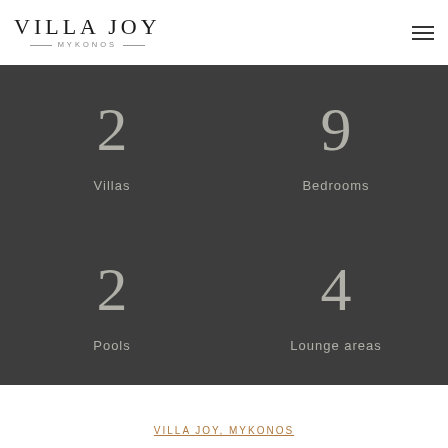VILLA JOY MYKONOS
2 Villas
9 Bedrooms
2 Pools
4 Lounge areas
VILLA JOY, MYKONOS